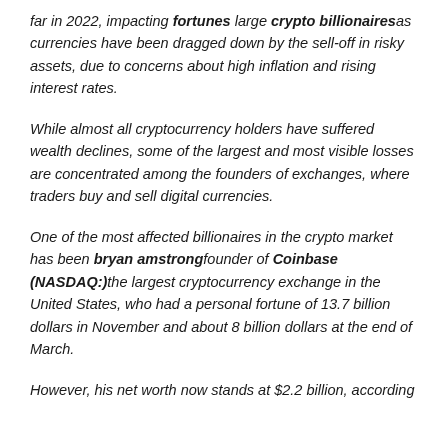far in 2022, impacting fortunes large crypto billionairesas currencies have been dragged down by the sell-off in risky assets, due to concerns about high inflation and rising interest rates.
While almost all cryptocurrency holders have suffered wealth declines, some of the largest and most visible losses are concentrated among the founders of exchanges, where traders buy and sell digital currencies.
One of the most affected billionaires in the crypto market has been bryan amstrongfounder of Coinbase (NASDAQ:)the largest cryptocurrency exchange in the United States, who had a personal fortune of 13.7 billion dollars in November and about 8 billion dollars at the end of March.
However, his net worth now stands at $2.2 billion, according